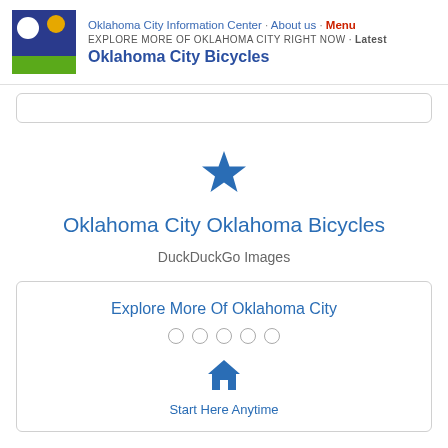Oklahoma City Information Center · About us · Menu
EXPLORE MORE OF OKLAHOMA CITY RIGHT NOW · Latest
Oklahoma City Bicycles
Oklahoma City Oklahoma Bicycles
DuckDuckGo Images
Explore More Of Oklahoma City
Start Here Anytime